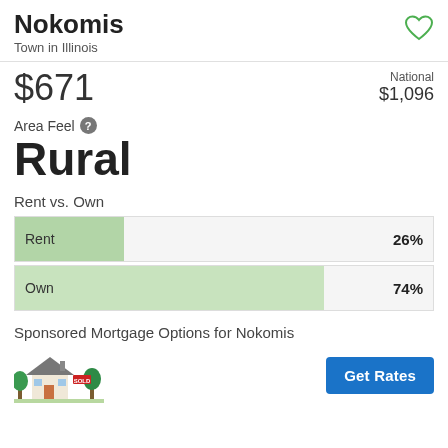Nokomis
Town in Illinois
$671
National $1,096
Area Feel
Rural
Rent vs. Own
[Figure (bar-chart): Rent vs. Own]
Sponsored Mortgage Options for Nokomis
[Figure (illustration): House illustration with trees]
Get Rates